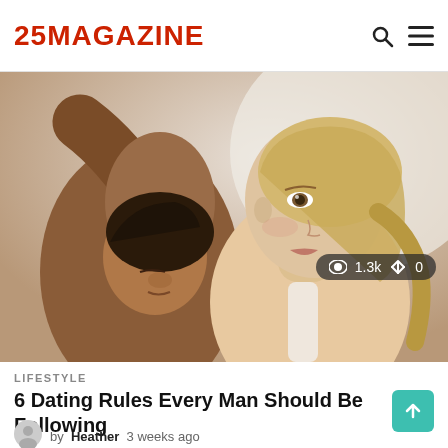25MAGAZINE
[Figure (photo): A couple close together — a dark-haired man resting his head on a woman's shoulder/neck, and a blonde woman looking forward at the camera. Stats overlay shows 1.3k views and 0 votes.]
LIFESTYLE
6 Dating Rules Every Man Should Be Following
by Heather 3 weeks ago